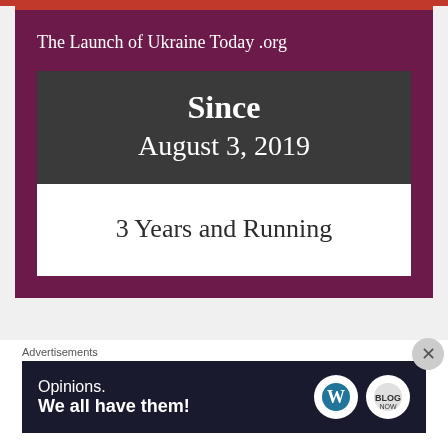The Launch of Ukraine Today .org
[Figure (infographic): Dark grey box with white text reading 'Since August 3, 2019' above a white box reading '3 Years and Running']
Advertisements
[Figure (screenshot): Advertisement banner with dark background: 'Opinions. We all have them!' with WordPress and Blog Now logos on the right.]